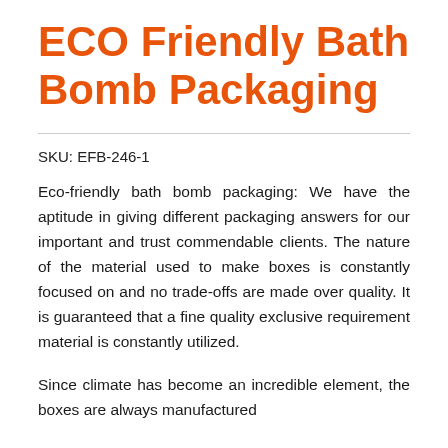ECO Friendly Bath Bomb Packaging
SKU: EFB-246-1
Eco-friendly bath bomb packaging: We have the aptitude in giving different packaging answers for our important and trust commendable clients. The nature of the material used to make boxes is constantly focused on and no trade-offs are made over quality. It is guaranteed that a fine quality exclusive requirement material is constantly utilized.
Since climate has become an incredible element, the boxes are always manufactured